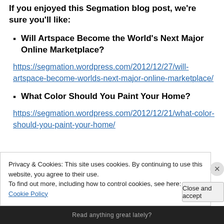If you enjoyed this Segmation blog post, we're sure you'll like:
Will Artspace Become the World's Next Major Online Marketplace?
https://segmation.wordpress.com/2012/12/27/will-artspace-become-worlds-next-major-online-marketplace/
What Color Should You Paint Your Home?
https://segmation.wordpress.com/2012/12/21/what-color-should-you-paint-your-home/
Privacy & Cookies: This site uses cookies. By continuing to use this website, you agree to their use.
To find out more, including how to control cookies, see here: Cookie Policy
Close and accept
Read anything great lately?